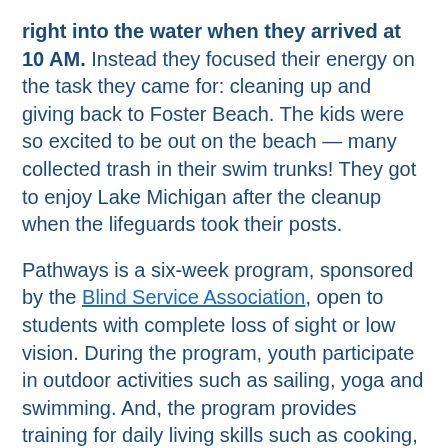right into the water when they arrived at 10 AM. Instead they focused their energy on the task they came for: cleaning up and giving back to Foster Beach. The kids were so excited to be out on the beach — many collected trash in their swim trunks! They got to enjoy Lake Michigan after the cleanup when the lifeguards took their posts.
Pathways is a six-week program, sponsored by the Blind Service Association, open to students with complete loss of sight or low vision. During the program, youth participate in outdoor activities such as sailing, yoga and swimming. And, the program provides training for daily living skills such as cooking, cane travel, and money management. Students said